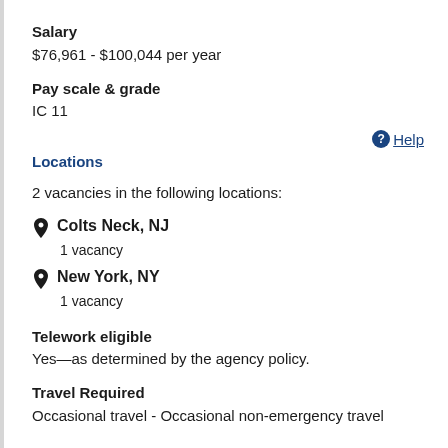Salary
$76,961 - $100,044 per year
Pay scale & grade
IC 11
Help
Locations
2 vacancies in the following locations:
Colts Neck, NJ
1 vacancy
New York, NY
1 vacancy
Telework eligible
Yes—as determined by the agency policy.
Travel Required
Occasional travel - Occasional non-emergency travel